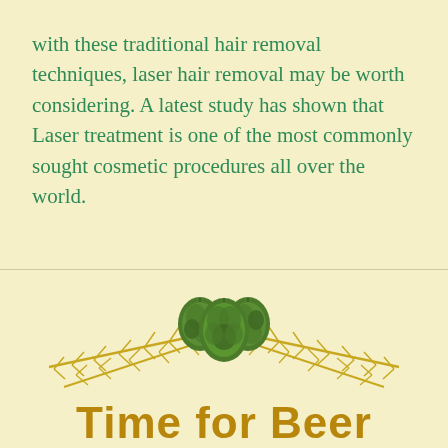with these traditional hair removal techniques, laser hair removal may be worth considering. A latest study has shown that Laser treatment is one of the most commonly sought cosmetic procedures all over the world.
[Figure (illustration): Decorative illustration of two wheat stalks fanning outward symmetrically with green hop cones in the center]
Time for Beer